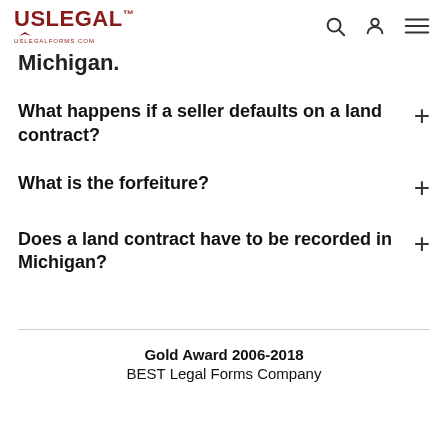USLegal uslegalforms.com
Michigan.
What happens if a seller defaults on a land contract?
What is the forfeiture?
Does a land contract have to be recorded in Michigan?
Gold Award 2006-2018 BEST Legal Forms Company